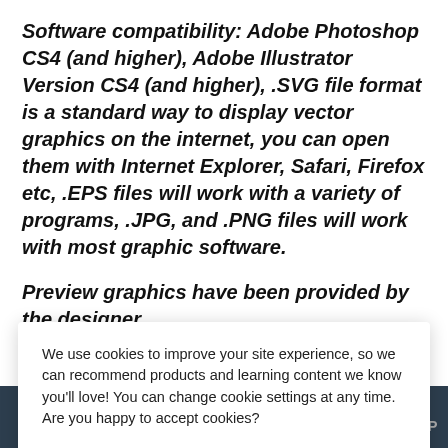Software compatibility: Adobe Photoshop CS4 (and higher), Adobe Illustrator Version CS4 (and higher), .SVG file format is a standard way to display vector graphics on the internet, you can open them with Internet Explorer, Safari, Firefox etc, .EPS files will work with a variety of programs, .JPG, and .PNG files will work with most graphic software.
Preview graphics have been provided by the designer for...
We use cookies to improve your site experience, so we can recommend products and learning content we know you'll love! You can change cookie settings at any time. Are you happy to accept cookies?
Manage Cookie Preferences
Yes I'm Happy
TOP